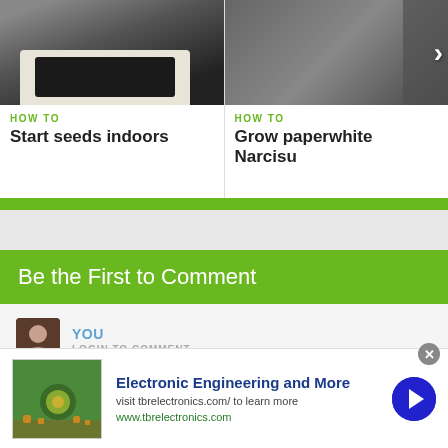[Figure (screenshot): Screenshot of a gardening website showing two 'HOW TO' article cards with photos. Left card: soil/seed tray image with title 'Start seeds indoors'. Right card: person holding plants with title 'Grow paperwhite Narcisu...' and a right-arrow navigation button.]
Be the First to Comment
YOU
LOGIN TO COMMENT
Click to share your thoughts
[Figure (screenshot): Advertisement banner: 'Electronic Engineering and More' with image of electronics components, text 'visit tbrelectronics.com/ to learn more', URL 'www.tbrelectronics.com', blue circular arrow button, and close (x) button.]